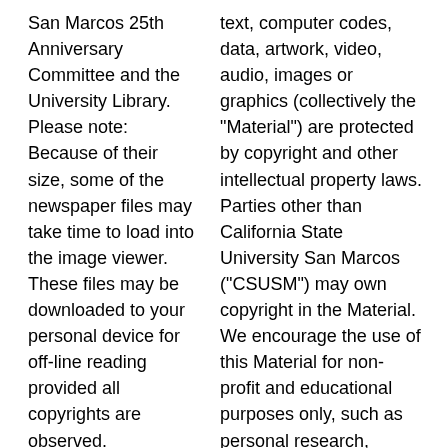San Marcos 25th Anniversary Committee and the University Library. Please note: Because of their size, some of the newspaper files may take time to load into the image viewer. These files may be downloaded to your personal device for off-line reading provided all copyrights are observed.
Contact the CSUSM Archives about this site.
text, computer codes, data, artwork, video, audio, images or graphics (collectively the "Material") are protected by copyright and other intellectual property laws. Parties other than California State University San Marcos (“CSUSM”) may own copyright in the Material. We encourage the use of this Material for non-profit and educational purposes only, such as personal research, teaching and private study. For these limited purposes, Material from this web site may be